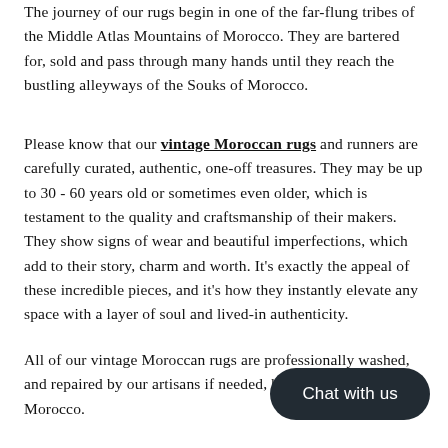The journey of our rugs begin in one of the far-flung tribes of the Middle Atlas Mountains of Morocco. They are bartered for, sold and pass through many hands until they reach the bustling alleyways of the Souks of Morocco.
Please know that our vintage Moroccan rugs and runners are carefully curated, authentic, one-off treasures. They may be up to 30 - 60 years old or sometimes even older, which is testament to the quality and craftsmanship of their makers. They show signs of wear and beautiful imperfections, which add to their story, charm and worth. It's exactly the appeal of these incredible pieces, and it's how they instantly elevate any space with a layer of soul and lived-in authenticity.
All of our vintage Moroccan rugs are professionally washed, and repaired by our artisans if needed, before leaving Morocco.
[Figure (other): Dark rounded pill-shaped chat button with white text reading 'Chat with us']